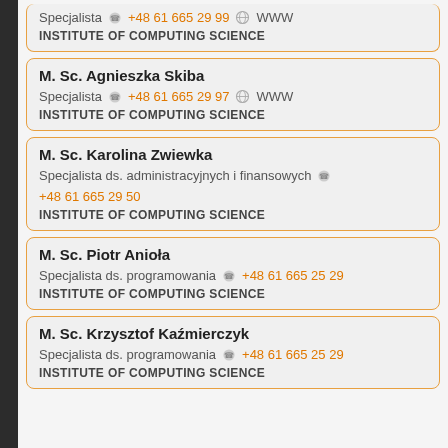Specjalista +48 61 665 29 99 WWW INSTITUTE OF COMPUTING SCIENCE
M. Sc. Agnieszka Skiba
Specjalista +48 61 665 29 97 WWW
INSTITUTE OF COMPUTING SCIENCE
M. Sc. Karolina Zwiewka
Specjalista ds. administracyjnych i finansowych +48 61 665 29 50
INSTITUTE OF COMPUTING SCIENCE
M. Sc. Piotr Anioła
Specjalista ds. programowania +48 61 665 25 29
INSTITUTE OF COMPUTING SCIENCE
M. Sc. Krzysztof Kaźmierczyk
Specjalista ds. programowania +48 61 665 25 29
INSTITUTE OF COMPUTING SCIENCE